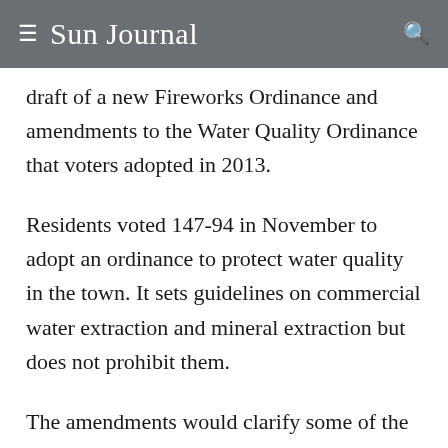≡ Sun Journal 🔍
draft of a new Fireworks Ordinance and amendments to the Water Quality Ordinance that voters adopted in 2013.
Residents voted 147-94 in November to adopt an ordinance to protect water quality in the town. It sets guidelines on commercial water extraction and mineral extraction but does not prohibit them.
The amendments would clarify some of the